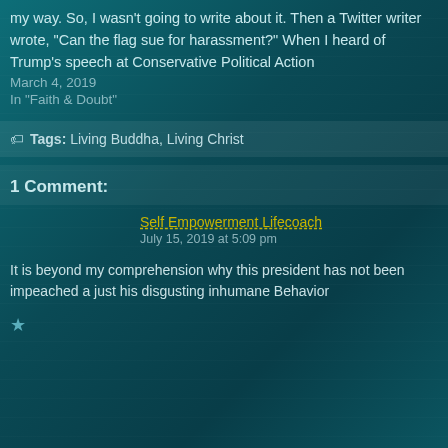my way. So, I wasn't going to write about it. Then a Twitter writer wrote, "Can the flag sue for harassment?" When I heard of Trump's speech at Conservative Political Action
March 4, 2019
In "Faith & Doubt"
Tags: Living Buddha, Living Christ
1 Comment:
Self Empowerment Lifecoach
July 15, 2019 at 5:09 pm
It is beyond my comprehension why this president has not been impeached a just his disgusting inhumane Behavior